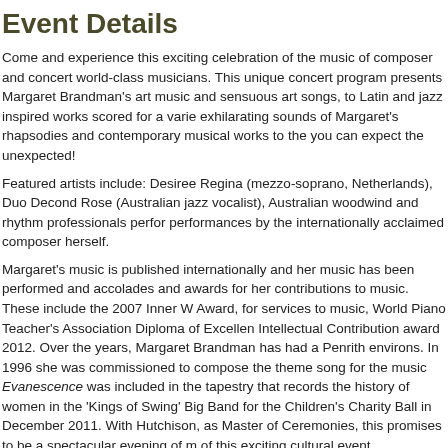Event Details
Come and experience this exciting celebration of the music of composer and concert world-class musicians. This unique concert program presents Margaret Brandman's art music and sensuous art songs, to Latin and jazz inspired works scored for a variety exhilarating sounds of Margaret's rhapsodies and contemporary musical works to the you can expect the unexpected!
Featured artists include: Desiree Regina (mezzo-soprano, Netherlands), Duo Decone Rose (Australian jazz vocalist), Australian woodwind and rhythm professionals perfo performances by the internationally acclaimed composer herself.
Margaret's music is published internationally and her music has been performed and accolades and awards for her contributions to music. These include the 2007 Inner W Award, for services to music, World Piano Teacher's Association Diploma of Excellen Intellectual Contribution award 2012. Over the years, Margaret Brandman has had a Penrith environs. In 1996 she was commissioned to compose the theme song for the music Evanescence was included in the tapestry that records the history of women in the 'Kings of Swing' Big Band for the Children's Charity Ball in December 2011. With Hutchison, as Master of Ceremonies, this promises to be a spectacular evening of m of this exciting cultural event.
Further information for this event is available online at the event's website or by phone boxoffice@jspac.com.au